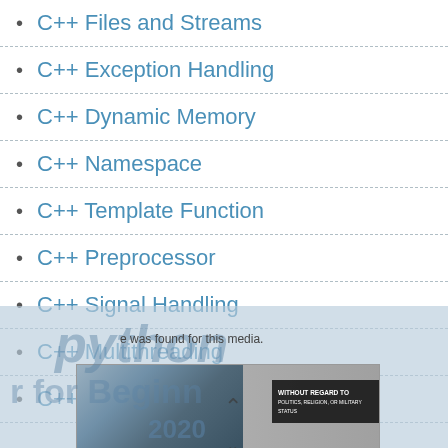C++ Files and Streams
C++ Exception Handling
C++ Dynamic Memory
C++ Namespace
C++ Template Function
C++ Preprocessor
C++ Signal Handling
C++ Multithreading
C++ Web Programming
[Figure (screenshot): Advertisement overlay showing an airplane cargo image with text 'WITHOUT REGARD TO' and background Python/beginner promotional text for 2020]